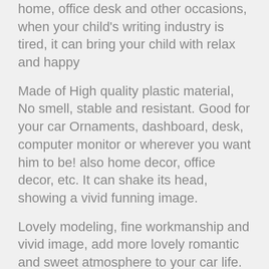home, office desk and other occasions, when your child's writing industry is tired, it can bring your child with relax and happy
Made of High quality plastic material, No smell, stable and resistant. Good for your car Ornaments, dashboard, desk, computer monitor or wherever you want him to be! also home decor, office decor, etc. It can shake its head, showing a vivid funning image.
Lovely modeling, fine workmanship and vivid image, add more lovely romantic and sweet atmosphere to your car life.
Resin handicraft has the characteristics of bright color, beautiful shape, economy, good durability, non-sticking grey, easy washing and so on.